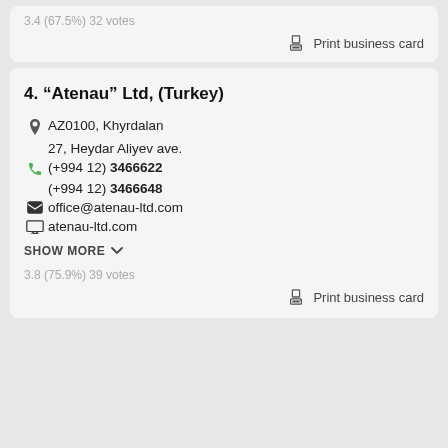3.4 (67.5%) 32 votes
Print business card
4. “Atenau” Ltd, (Turkey)
AZ0100, Khyrdalan 27, Heydar Aliyev ave.
(+994 12) 3466622
(+994 12) 3466648
office@atenau-ltd.com
atenau-ltd.com
SHOW MORE
3.8 (75.9%) 39 votes
Print business card